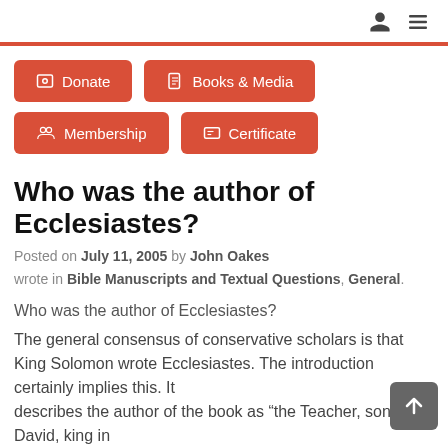🧑 ☰
Donate
Books & Media
Membership
Certificate
Who was the author of Ecclesiastes?
Posted on July 11, 2005 by John Oakes wrote in Bible Manuscripts and Textual Questions, General.
Who was the author of Ecclesiastes?
The general consensus of conservative scholars is that King Solomon wrote Ecclesiastes. The introduction certainly implies this. It describes the author of the book as "the Teacher, son of David, king in